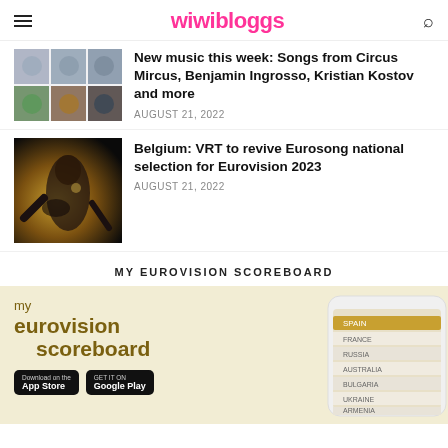wiwibloggs
[Figure (photo): Grid of artist photos for New Music article]
New music this week: Songs from Circus Mircus, Benjamin Ingrosso, Kristian Kostov and more
AUGUST 21, 2022
[Figure (photo): Singer performing on stage with dark background and golden lights]
Belgium: VRT to revive Eurosong national selection for Eurovision 2023
AUGUST 21, 2022
MY EUROVISION SCOREBOARD
[Figure (infographic): My Eurovision Scoreboard app advertisement showing logo text, App Store and Google Play buttons, and a phone displaying scoreboard rankings]